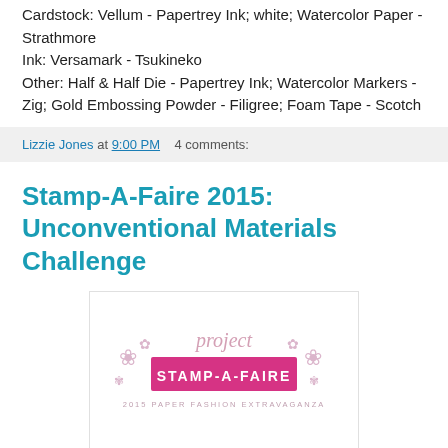Cardstock: Vellum - Papertrey Ink; white; Watercolor Paper - Strathmore
Ink: Versamark - Tsukineko
Other: Half & Half Die - Papertrey Ink; Watercolor Markers - Zig; Gold Embossing Powder - Filigree; Foam Tape - Scotch
Lizzie Jones at 9:00 PM   4 comments:
Stamp-A-Faire 2015: Unconventional Materials Challenge
[Figure (logo): Project Stamp-A-Faire logo with pink banner reading STAMP-A-FAIRE and subtitle 2015 PAPER FASHION EXTRAVAGANZA]
How are you holding up, Papertrey fans? Are you on crafty overload or are you reveling in having a whole day to create? A little of both? Well it's time to rally! We've reached the